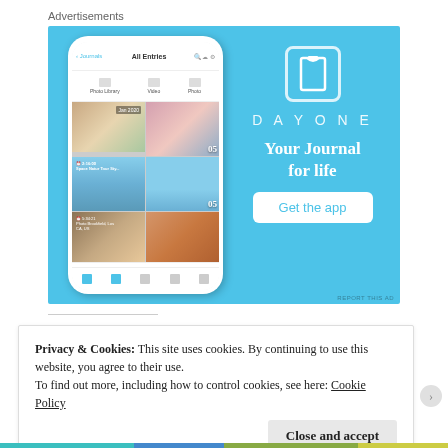Advertisements
[Figure (screenshot): DayOne app advertisement. Left side shows a smartphone with a photo journal app open displaying a grid of photos. Right side on a light blue background shows a bookmark icon, the text 'D A Y O N E', the tagline 'Your Journal for life', and a white button labeled 'Get the app'.]
Privacy & Cookies: This site uses cookies. By continuing to use this website, you agree to their use.
To find out more, including how to control cookies, see here: Cookie Policy
Close and accept